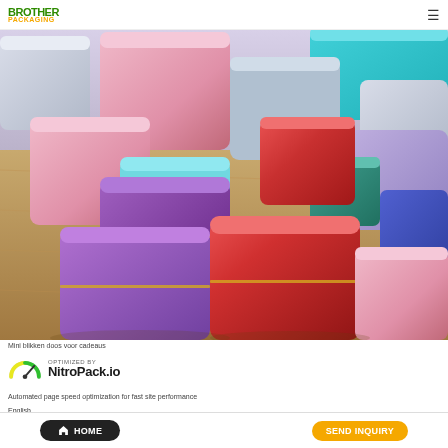BROTHER Packaging — navigation
[Figure (photo): Multiple colorful square tin cans/boxes in various colors (pink, red, purple, teal, blue, lavender) arranged on a wooden surface, photographed from a slightly elevated angle.]
Mini blikken doos voor cadeaus
[Figure (logo): NitroPack.io logo with speedometer icon. Text reads 'OPTIMIZED BY NitroPack.io']
Automated page speed optimization for fast site performance
English
Afrikaans
Amharic
Arabic
Dutch
French
German
Indonesian
Malay
Italian
Korean
Japanese
Burmese
Albanian
HOME | SEND INQUIRY